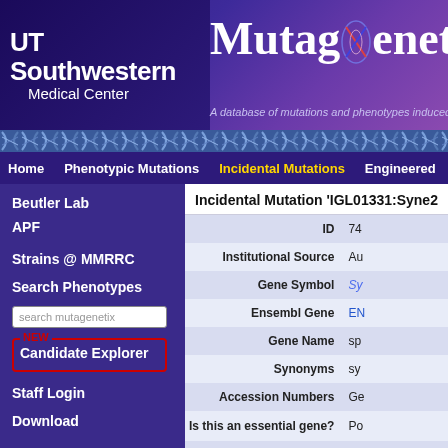[Figure (screenshot): UT Southwestern Medical Center logo on dark purple banner]
Mutagenetix — A database of mutations and phenotypes induced b...
Home | Phenotypic Mutations | Incidental Mutations | Engineered
Incidental Mutation 'IGL01331:Syne2'
| Field | Value |
| --- | --- |
| ID | 74... |
| Institutional Source | Au... |
| Gene Symbol | Sy... |
| Ensembl Gene | EN... |
| Gene Name | sp... |
| Synonyms | sy... |
| Accession Numbers | Ge... |
| Is this an essential gene? | Po... |
| Stock # | IG... |
| Quality S... |  |
Beutler Lab
APF
Strains @ MMRRC
Search Phenotypes
Candidate Explorer
Staff Login
Download